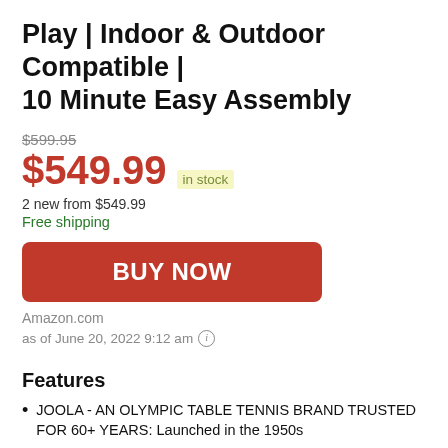Play | Indoor & Outdoor Compatible | 10 Minute Easy Assembly
$599.95
$549.99 in stock
2 new from $549.99
Free shipping
[Figure (other): BUY NOW button (red rounded rectangle)]
Amazon.com
as of June 20, 2022 9:12 am ⓘ
Features
JOOLA - AN OLYMPIC TABLE TENNIS BRAND TRUSTED FOR 60+ YEARS: Launched in the 1950s